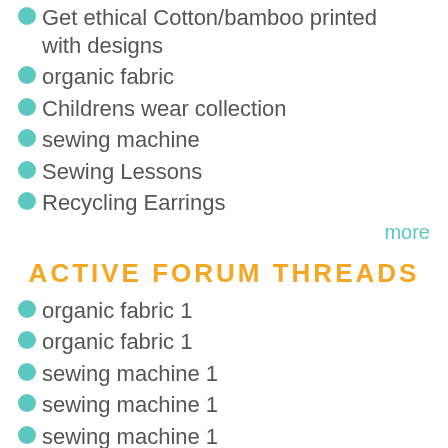Get ethical Cotton/bamboo printed with designs
organic fabric
Childrens wear collection
sewing machine
Sewing Lessons
Recycling Earrings
more
ACTIVE FORUM THREADS
organic fabric 1
organic fabric 1
sewing machine 1
sewing machine 1
sewing machine 1